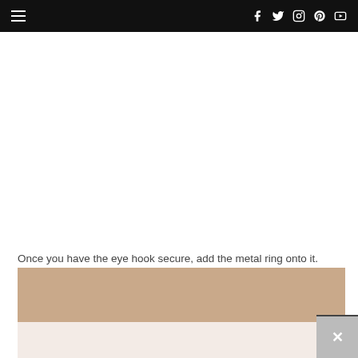Navigation and social icons bar
Once you have the eye hook secure, add the metal ring onto it.
[Figure (photo): Tan/beige colored bar representing a cropped photo of a craft or DIY project step, with a light pinkish-beige area below it. A close/dismiss widget appears in the bottom-right corner.]